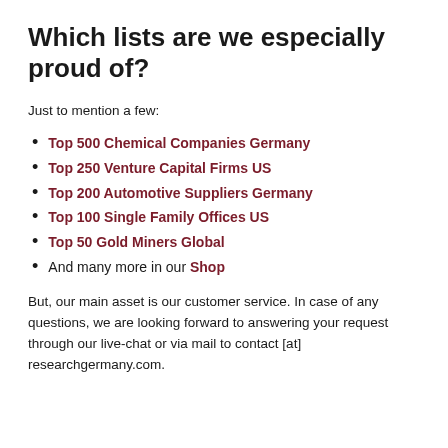Which lists are we especially proud of?
Just to mention a few:
Top 500 Chemical Companies Germany
Top 250 Venture Capital Firms US
Top 200 Automotive Suppliers Germany
Top 100 Single Family Offices US
Top 50 Gold Miners Global
And many more in our Shop
But, our main asset is our customer service. In case of any questions, we are looking forward to answering your request through our live-chat or via mail to contact [at] researchgermany.com.